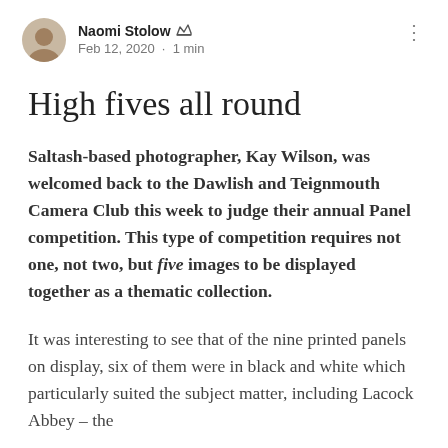Naomi Stolow · Feb 12, 2020 · 1 min
High fives all round
Saltash-based photographer, Kay Wilson, was welcomed back to the Dawlish and Teignmouth Camera Club this week to judge their annual Panel competition. This type of competition requires not one, not two, but five images to be displayed together as a thematic collection.
It was interesting to see that of the nine printed panels on display, six of them were in black and white which particularly suited the subject matter, including Lacock Abbey – the birthplace of black and white...